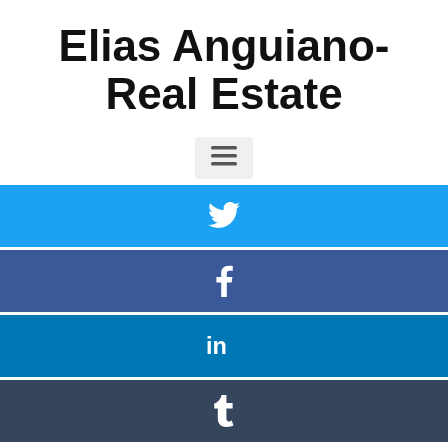Elias Anguiano-Real Estate
[Figure (infographic): Hamburger menu icon button]
[Figure (infographic): Twitter share button (blue background with Twitter bird icon)]
[Figure (infographic): Facebook share button (dark blue background with Facebook 'f' icon)]
[Figure (infographic): LinkedIn share button (medium blue background with 'in' icon)]
[Figure (infographic): Tumblr share button (dark navy background with 't' icon)]
Being a homeowner is something that is the